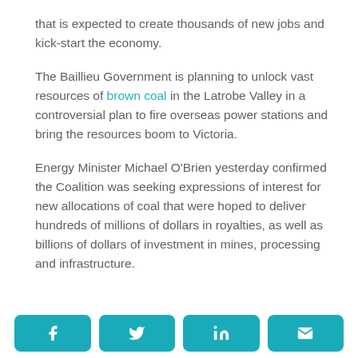that is expected to create thousands of new jobs and kick-start the economy.
The Baillieu Government is planning to unlock vast resources of brown coal in the Latrobe Valley in a controversial plan to fire overseas power stations and bring the resources boom to Victoria.
Energy Minister Michael O'Brien yesterday confirmed the Coalition was seeking expressions of interest for new allocations of coal that were hoped to deliver hundreds of millions of dollars in royalties, as well as billions of dollars of investment in mines, processing and infrastructure.
[Figure (other): Social media share buttons: Facebook, Twitter, LinkedIn, Email — teal/cyan rounded rectangles with white icons]